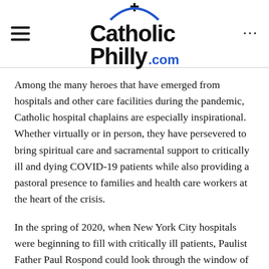CatholicPhilly.com
Among the many heroes that have emerged from hospitals and other care facilities during the pandemic, Catholic hospital chaplains are especially inspirational. Whether virtually or in person, they have persevered to bring spiritual care and sacramental support to critically ill and dying COVID-19 patients while also providing a pastoral presence to families and health care workers at the heart of the crisis.
In the spring of 2020, when New York City hospitals were beginning to fill with critically ill patients, Paulist Father Paul Rospond could look through the window of his room in the rectory at St. Paul the Apostle Church and see the ambulances